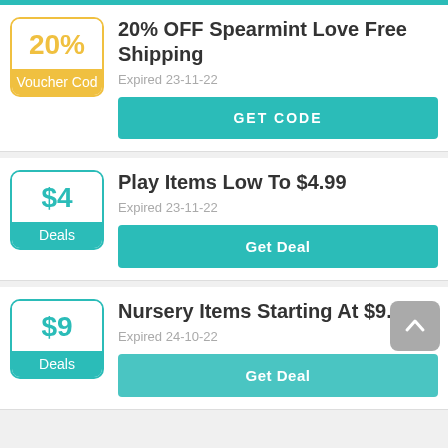[Figure (screenshot): Top teal bar partial]
20% OFF Spearmint Love Free Shipping
Expired 23-11-22
GET CODE
Play Items Low To $4.99
Expired 23-11-22
Get Deal
Nursery Items Starting At $9.99
Expired 24-10-22
Get Deal